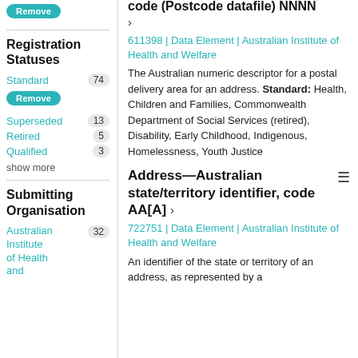Registration Statuses
Standard 74
Superseded 13
Retired 5
Qualified 3
show more
Submitting Organisation
Australian Institute of Health and 32
code (Postcode datafile) NNNN >
611398 | Data Element | Australian Institute of Health and Welfare
The Australian numeric descriptor for a postal delivery area for an address. Standard: Health, Children and Families, Commonwealth Department of Social Services (retired), Disability, Early Childhood, Indigenous, Homelessness, Youth Justice
Address—Australian state/territory identifier, code AA[A] >
722751 | Data Element | Australian Institute of Health and Welfare
An identifier of the state or territory of an address, as represented by a